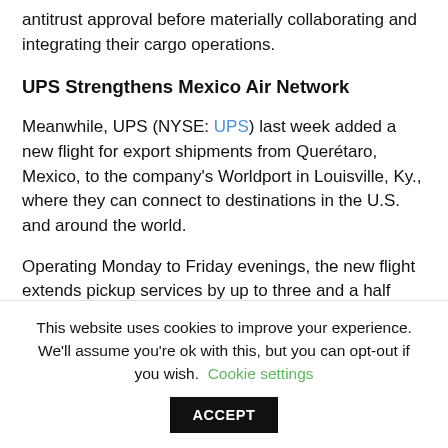antitrust approval before materially collaborating and integrating their cargo operations.
UPS Strengthens Mexico Air Network
Meanwhile, UPS (NYSE: UPS) last week added a new flight for export shipments from Querétaro, Mexico, to the company's Worldport in Louisville, Ky., where they can connect to destinations in the U.S. and around the world.
Operating Monday to Friday evenings, the new flight extends pickup services by up to three and a half hours, giving businesses more time to prepare their
This website uses cookies to improve your experience. We'll assume you're ok with this, but you can opt-out if you wish. Cookie settings ACCEPT